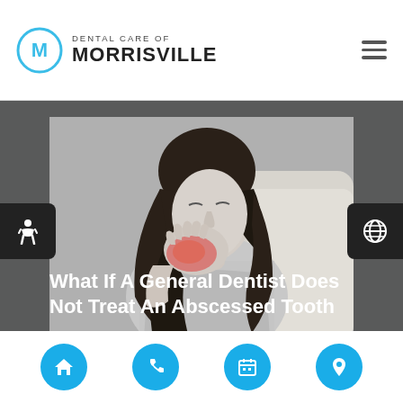[Figure (logo): Dental Care of Morrisville logo with circular M icon]
[Figure (photo): Black and white photo of a woman holding her cheek in pain, with red highlight on the jaw area indicating tooth/abscess pain]
What If A General Dentist Does Not Treat An Abscessed Tooth
[Figure (infographic): Bottom navigation bar with four cyan circular buttons: home, phone, calendar, location pin icons. Accessibility icon on left edge, globe icon on right edge.]